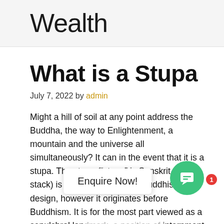Wealth
What is a Stupa
July 7, 2022 by admin
Might a hill of soil at any point address the Buddha, the way to Enlightenment, a mountain and the universe all simultaneously? It can in the event that it is a stupa. The stupa (“stupa” is Sanskrit for stack) is a significant type of Buddhist design, however it originates before Buddhism. It is for the most part viewed as a sepulchral landmark, a position of internment or a container for religious relics. Put it difficult, a stupa is a soil entombment hill confronted with stone. In Buddhism, the earliest stupas contained